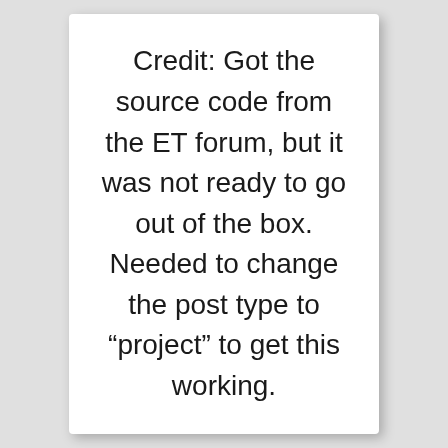Credit: Got the source code from the ET forum, but it was not ready to go out of the box. Needed to change the post type to “project” to get this working.